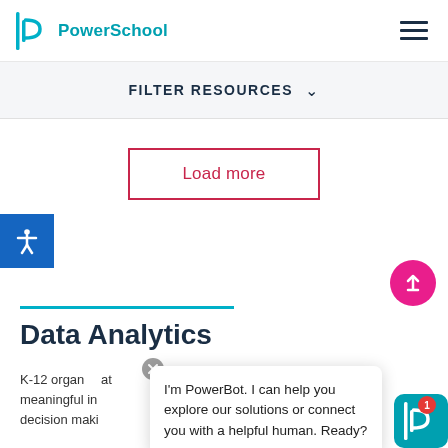PowerSchool
FILTER RESOURCES
Load more
Data Analytics
K-12 organizations use data analytics for meaningful insights fo decision making
I'm PowerBot. I can help you explore our solutions or connect you with a helpful human. Ready?